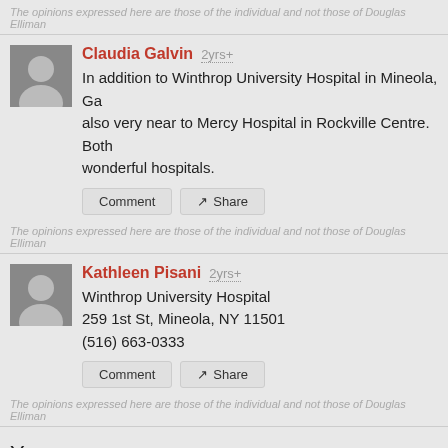The opinions expressed here are those of the individual and not those of Douglas Elliman
Claudia Galvin 2yrs+
In addition to Winthrop University Hospital in Mineola, Ga also very near to Mercy Hospital in Rockville Centre. Both wonderful hospitals.
The opinions expressed here are those of the individual and not those of Douglas Elliman
Kathleen Pisani 2yrs+
Winthrop University Hospital
259 1st St, Mineola, NY 11501
(516) 663-0333
The opinions expressed here are those of the individual and not those of Douglas Elliman
Your answer
Help out by answering the question...